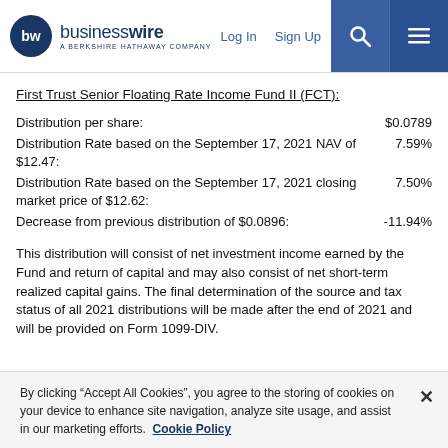businesswire — A BERKSHIRE HATHAWAY COMPANY | Log In | Sign Up
First Trust Senior Floating Rate Income Fund II (FCT):
Distribution per share:    $0.0789
Distribution Rate based on the September 17, 2021 NAV of $12.47:    7.59%
Distribution Rate based on the September 17, 2021 closing market price of $12.62:    7.50%
Decrease from previous distribution of $0.0896:    -11.94%
This distribution will consist of net investment income earned by the Fund and return of capital and may also consist of net short-term realized capital gains. The final determination of the source and tax status of all 2021 distributions will be made after the end of 2021 and will be provided on Form 1099-DIV.
By clicking “Accept All Cookies”, you agree to the storing of cookies on your device to enhance site navigation, analyze site usage, and assist in our marketing efforts.  Cookie Policy